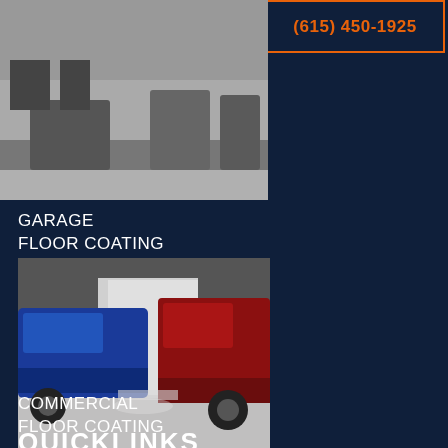[Figure (other): Orange FAST QUOTE button on left, phone number (615) 450-1925 in orange text on right with orange border]
[Figure (photo): Top portion of a garage interior showing motorcycles and vehicles on a coated floor]
GARAGE
FLOOR COATING
[Figure (photo): Two cars parked in a garage with a coated floor — blue car on left, red truck on right]
COMMERCIAL
FLOOR COATING
QUICKLINKS